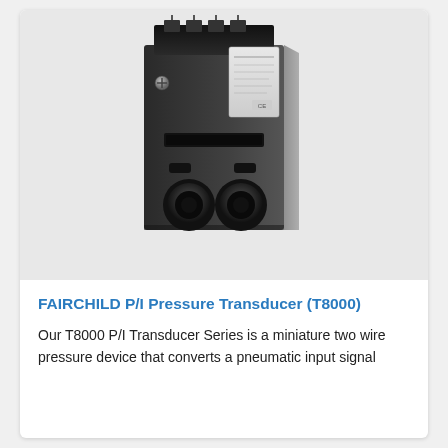[Figure (photo): Black and white photograph of a Fairchild T8000 P/I Pressure Transducer — a small dark rectangular electro-pneumatic device with two circular pneumatic ports on the bottom face, a rectangular slot/port in the middle, and a white label on the upper right side. Viewed from a slight angle showing the front and right side.]
FAIRCHILD P/I Pressure Transducer (T8000)
Our T8000 P/I Transducer Series is a miniature two wire pressure device that converts a pneumatic input signal